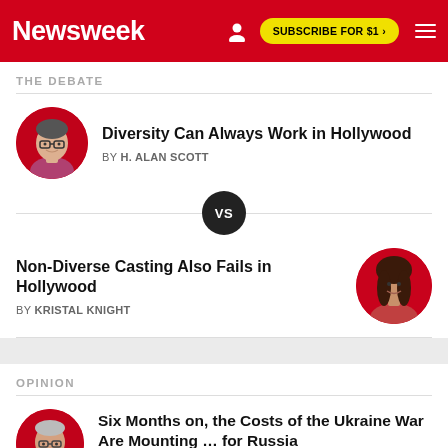Newsweek | SUBSCRIBE FOR $1 >
THE DEBATE
Diversity Can Always Work in Hollywood
BY H. ALAN SCOTT
[Figure (other): VS divider circle with horizontal lines]
Non-Diverse Casting Also Fails in Hollywood
BY KRISTAL KNIGHT
OPINION
Six Months on, the Costs of the Ukraine War Are Mounting … for Russia